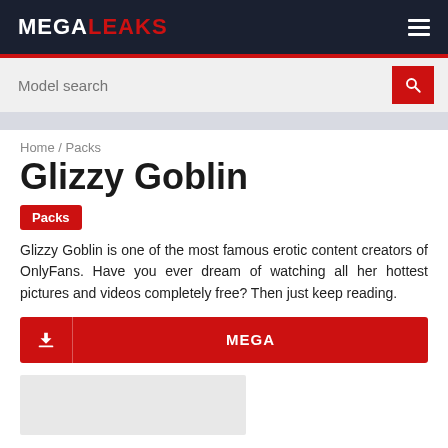MEGALEAKS
Model search
Home / Packs
Glizzy Goblin
Packs
Glizzy Goblin is one of the most famous erotic content creators of OnlyFans. Have you ever dream of watching all her hottest pictures and videos completely free? Then just keep reading.
MEGA
[Figure (photo): Thumbnail placeholder image (gray rectangle)]